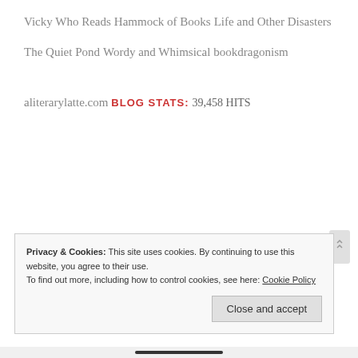Vicky Who Reads
Hammock of Books
Life and Other Disasters
The Quiet Pond
Wordy and Whimsical
bookdragonism
aliterarylatte.com
BLOG STATS:
39,458 HITS
Privacy & Cookies: This site uses cookies. By continuing to use this website, you agree to their use.
To find out more, including how to control cookies, see here: Cookie Policy
Close and accept